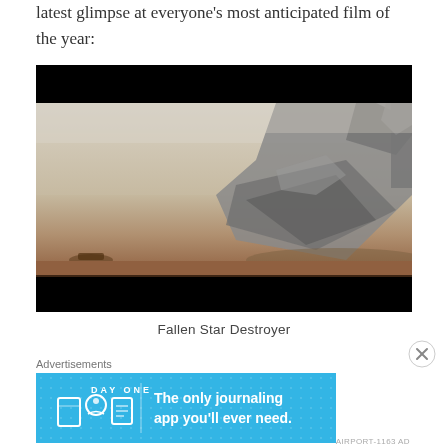latest glimpse at everyone's most anticipated film of the year:
[Figure (photo): Movie still showing a fallen Star Destroyer spacecraft wreckage on a desert planet surface with hazy sky, from Star Wars: The Force Awakens.]
Fallen Star Destroyer
Advertisements
[Figure (screenshot): Advertisement for Day One journaling app on a blue background. Shows 'DAY ONE' logo text and icons of a notebook, person, and document. Text reads 'The only journaling app you'll ever need.']